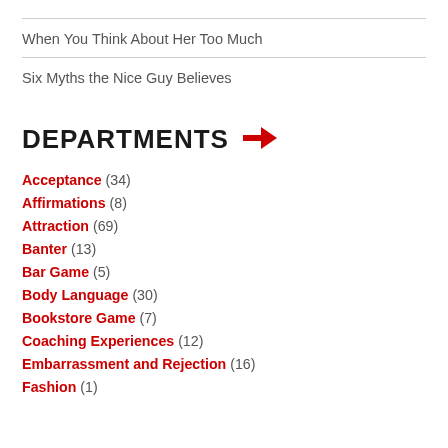When You Think About Her Too Much
Six Myths the Nice Guy Believes
DEPARTMENTS →
Acceptance (34)
Affirmations (8)
Attraction (69)
Banter (13)
Bar Game (5)
Body Language (30)
Bookstore Game (7)
Coaching Experiences (12)
Embarrassment and Rejection (16)
Fashion (1)